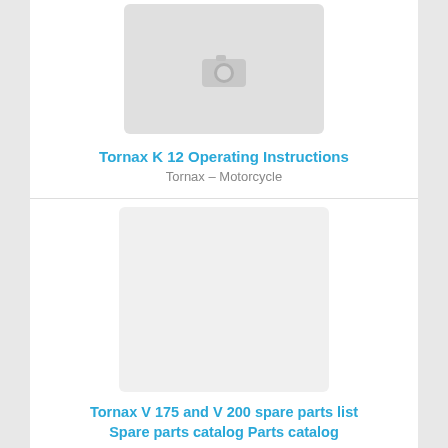[Figure (photo): Placeholder image with camera icon for Tornax K 12 Operating Instructions]
Tornax K 12 Operating Instructions
Tornax – Motorcycle
[Figure (photo): Placeholder image for Tornax V 175 and V 200 spare parts list]
Tornax V 175 and V 200 spare parts list Spare parts catalog Parts catalog